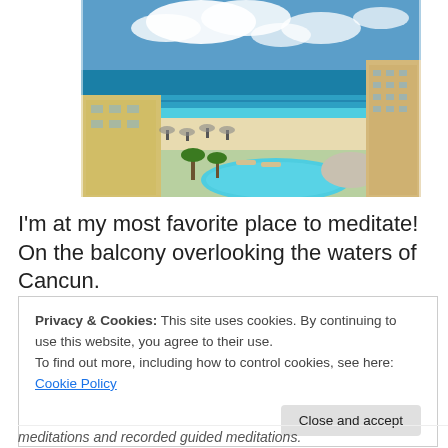[Figure (photo): Aerial view of a beach resort in Cancun, showing a swimming pool, sandy beach, turquoise ocean water, hotel buildings, and blue sky with clouds.]
I'm at my most favorite place to meditate! On the balcony overlooking the waters of Cancun.
Privacy & Cookies: This site uses cookies. By continuing to use this website, you agree to their use.
To find out more, including how to control cookies, see here: Cookie Policy
Close and accept
meditations and recorded guided meditations.